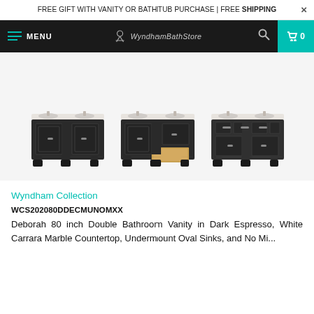FREE GIFT WITH VANITY OR BATHTUB PURCHASE | FREE SHIPPING
[Figure (screenshot): Navigation bar with hamburger menu, MENU label, Wyndham Bath Store logo, search icon, and teal cart icon showing 0]
[Figure (photo): Three thumbnail images of the Deborah 80 inch Double Bathroom Vanity in Dark Espresso shown from different angles — closed, open drawer, and alternate view]
Wyndham Collection
WCS202080DDECMUNOMXX
Deborah 80 inch Double Bathroom Vanity in Dark Espresso, White Carrara Marble Countertop, Undermount Oval Sinks, and No Mi...